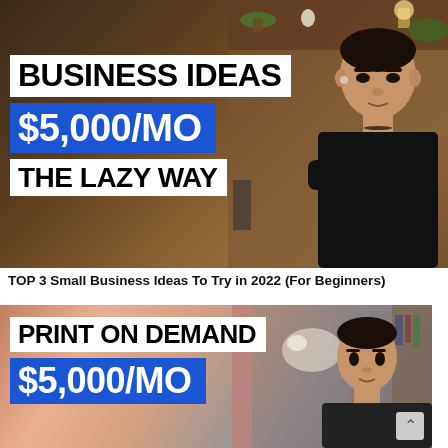[Figure (photo): YouTube video thumbnail showing a young Asian man with arms crossed against a dark brown room background, with text overlays: white box 'BUSINESS IDEAS', blue box '$5,000/MO', white box 'THE LAZY WAY']
TOP 3 Small Business Ideas To Try in 2022 (For Beginners)
[Figure (photo): YouTube video thumbnail showing a young Asian man in a modern room, with text overlays: white box 'PRINT ON DEMAND', blue box '$5,000/MO' (partially visible)]